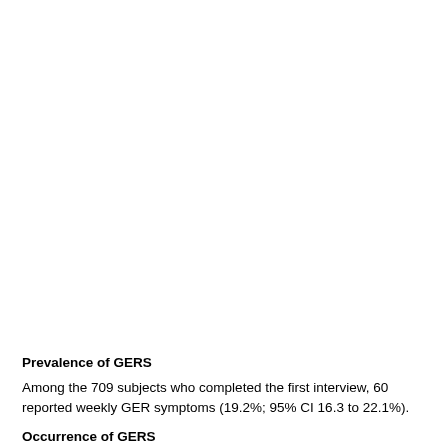Prevalence of GERS
Among the 709 subjects who completed the first interview, 60 reported weekly GERS symptoms (19.2%; 95% CI 16.3 to 22.1%).
Occurrence of GERS